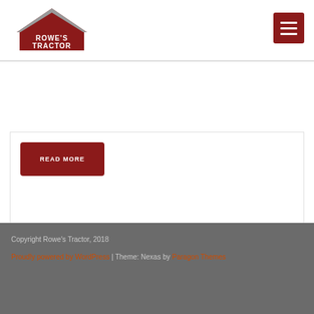[Figure (logo): Rowe's Tractor logo with barn/tractor graphic and text ROWE'S TRACTOR]
[Figure (other): Hamburger menu button (dark red/maroon square with three white horizontal lines)]
READ MORE
Copyright Rowe's Tractor, 2018
Proudly powered by WordPress | Theme: Nexas by Paragon Themes